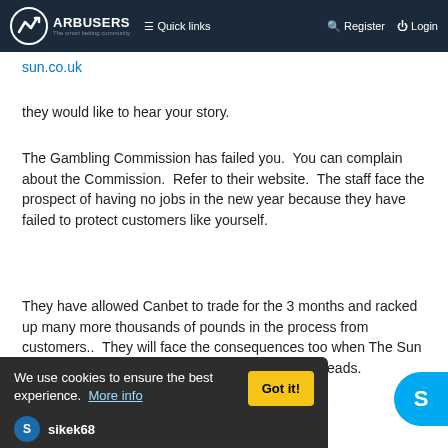ARBUSERS — Quick links | Register | Login
sun.co.uk
they would like to hear your story.
The Gambling Commission has failed you.  You can complain about the Commission.  Refer to their website.  The staff face the prospect of having no jobs in the new year because they have failed to protect customers like yourself.
They have allowed Canbet to trade for the 3 months and racked up many more thousands of pounds in the process from customers..  They will face the consequences too when The Sun report their findings and will be seeking for their heads.
We use cookies to ensure the best experience.  More info
sikek68